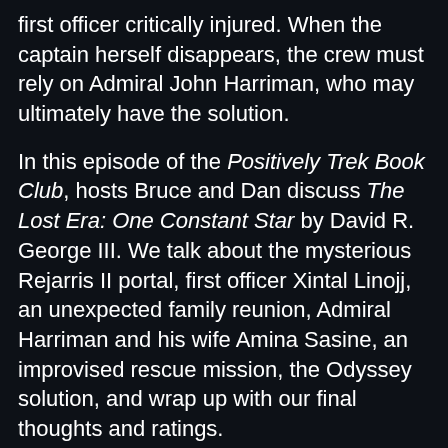first officer critically injured. When the captain herself disappears, the crew must rely on Admiral John Harriman, who may ultimately have the solution.
In this episode of the Positively Trek Book Club, hosts Bruce and Dan discuss The Lost Era: One Constant Star by David R. George III. We talk about the mysterious Rejarris II portal, first officer Xintal Linojj, an unexpected family reunion, Admiral Harriman and his wife Amina Sasine, an improvised rescue mission, the Odyssey solution, and wrap up with our final thoughts and ratings.
Show page: http://positivelytrek.libsyn.com/ Apple Podcasts: https://podcasts.apple.com/ca/podcast/positively-trek/id1501468628 Twitter: